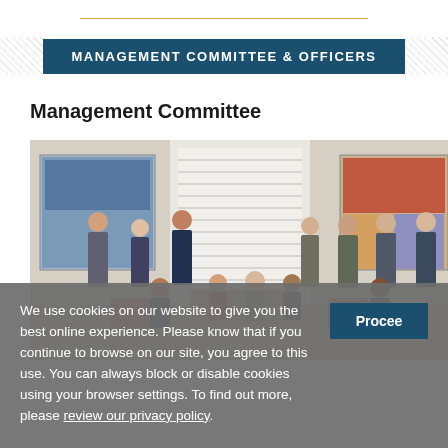MANAGEMENT COMMITTEE & OFFICERS
Management Committee
[Figure (photo): Group photo of Management Committee members, formally posed in an office/boardroom setting with artwork on walls and large windows. Approximately 13 individuals, some seated and some standing.]
We use cookies on our website to give you the best online experience. Please know that if you continue to browse on our site, you agree to this use. You can always block or disable cookies using your browser settings. To find out more, please review our privacy policy.